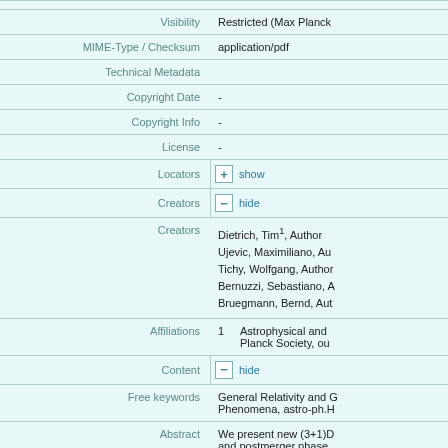| Field | Value |
| --- | --- |
| Visibility | Restricted (Max Planck… |
| MIME-Type / Checksum | application/pdf |
| Technical Metadata |  |
| Copyright Date | - |
| Copyright Info | - |
| License | - |
Locators — show
Creators — hide
Creators: Dietrich, Tim¹, Author; Ujevic, Maximiliano, Au…; Tichy, Wolfgang, Author; Bernuzzi, Sebastiano, A…; Bruegmann, Bernd, Aut…
Affiliations: 1 Astrophysical and … Planck Society, ou…
Content — hide
Free keywords: General Relativity and G… Phenomena, astro-ph.H…
Abstract: We present new (3+1)D… and postmerger phase… space spanning the bin… of state, and up to $q|s…